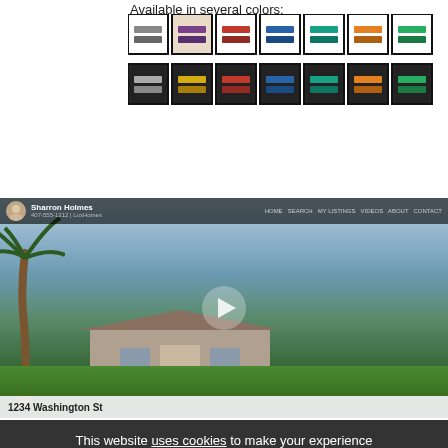Available in several colors:
[Figure (illustration): Grid of color swatches showing real estate sign color options: two rows of 7 swatches each. Top row on white background: gray, purple, red, blue, teal, orange, green. Bottom row on black background: gray, yellow, red, blue, teal, orange, green.]
[Figure (screenshot): Screenshot of a real estate agent website video thumbnail showing a house at 1234 Washington St with palm trees and tropical landscaping. Agent Sharron Holmes shown in header bar with navigation links. Play button overlay in center.]
This website uses cookies to make your experience better.  Got it